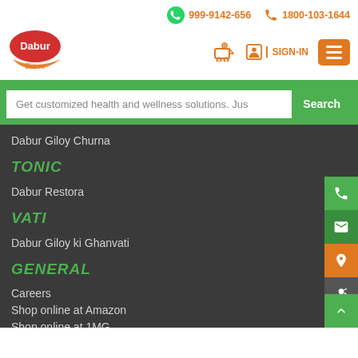999-9142-656  1800-103-1644
[Figure (logo): Dabur Estore logo with red and green brand mark]
SIGN-IN
Get customized health and wellness solutions. Just ask Dabur
Dabur Giloy Churna
TONIC
Dabur Restora
VATI
Dabur Giloy ki Ghanvati
GENERAL
Careers
Shop online at Amazon
Shop online at 1MG